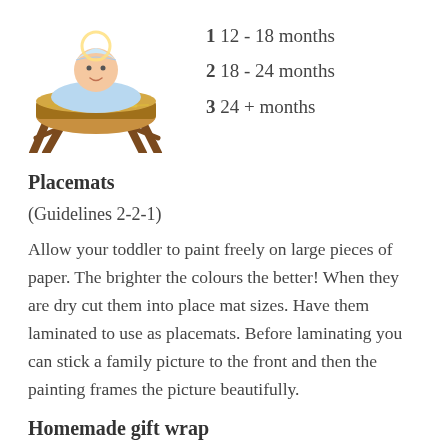[Figure (illustration): Illustration of a baby in a manger/cradle with straw]
1 12 - 18 months
2 18 - 24 months
3 24 + months
Placemats
(Guidelines 2-2-1)
Allow your toddler to paint freely on large pieces of paper. The brighter the colours the better! When they are dry cut them into place mat sizes. Have them laminated to use as placemats. Before laminating you can stick a family picture to the front and then the painting frames the picture beautifully.
Homemade gift wrap
(Guidelines 2-2-2)